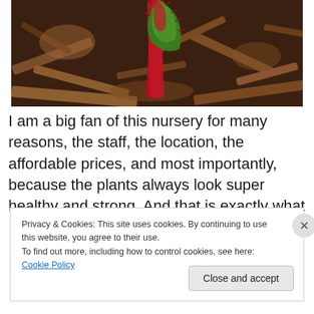[Figure (photo): Close-up photo of a carnivorous plant with red stem and green-red leaf tip against a dark brown wood chip background]
I am a big fan of this nursery for many reasons, the staff, the location, the affordable prices, and most importantly, because the plants always look super healthy and strong. And that is exactly what I want when I purchase plants for
Privacy & Cookies: This site uses cookies. By continuing to use this website, you agree to their use.
To find out more, including how to control cookies, see here: Cookie Policy
Close and accept